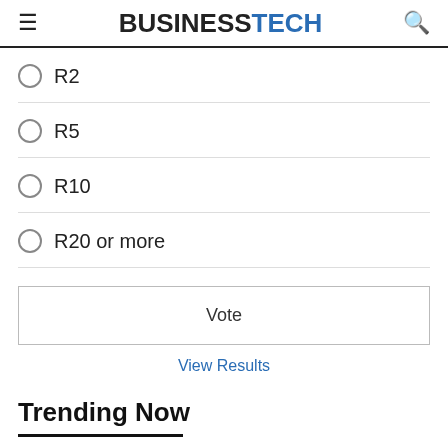BUSINESSTECH
R2
R5
R10
R20 or more
Vote
View Results
Trending Now
[Figure (photo): Gray placeholder image below Trending Now section header]